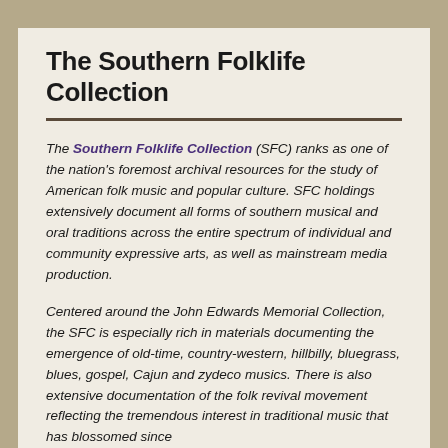The Southern Folklife Collection
The Southern Folklife Collection (SFC) ranks as one of the nation's foremost archival resources for the study of American folk music and popular culture. SFC holdings extensively document all forms of southern musical and oral traditions across the entire spectrum of individual and community expressive arts, as well as mainstream media production.
Centered around the John Edwards Memorial Collection, the SFC is especially rich in materials documenting the emergence of old-time, country-western, hillbilly, bluegrass, blues, gospel, Cajun and zydeco musics. There is also extensive documentation of the folk revival movement reflecting the tremendous interest in traditional music that has blossomed since...